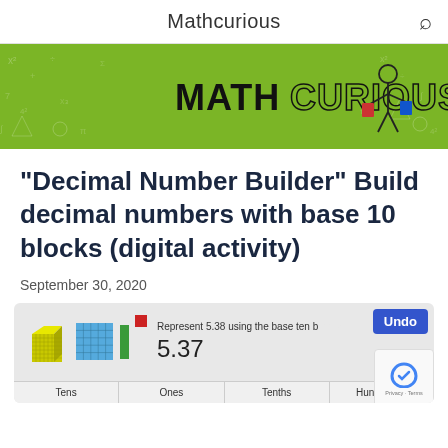Mathcurious
[Figure (illustration): MathCurious green banner logo with math symbols background and a stick figure character carrying colored buckets next to the MathCurious logo text]
“Decimal Number Builder” Build decimal numbers with base 10 blocks (digital activity)
September 30, 2020
[Figure (screenshot): Screenshot of the Decimal Number Builder digital activity showing base-10 blocks (yellow cube, blue flat, green rod, red unit), text 'Represent 5.38 using the base ten blocks', number display showing 5.37, an Undo button, a table row with column headers Tens, Ones, Tenths, Hundredths, and a slider dot indicator]